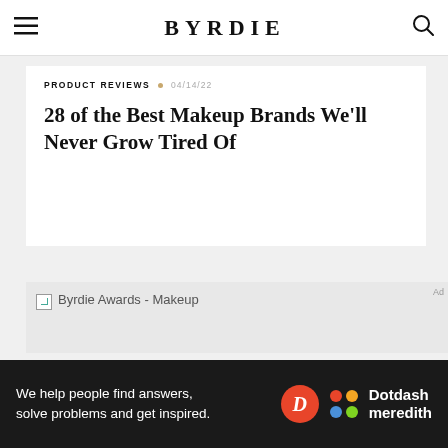BYRDIE
PRODUCT REVIEWS · 04/14/22
28 of the Best Makeup Brands We'll Never Grow Tired Of
[Figure (photo): Byrdie Awards - Makeup image placeholder (broken image)]
Byrdie Awards - Makeup
We help people find answers, solve problems and get inspired.
[Figure (logo): Dotdash Meredith logo with D circle and colorful dots]